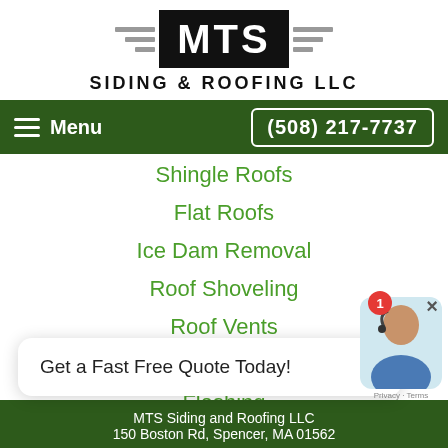[Figure (logo): MTS Siding & Roofing LLC logo with wings and black badge]
Menu   (508) 217-7737
Shingle Roofs
Flat Roofs
Ice Dam Removal
Roof Shoveling
Roof Vents
Roofing Prices
Flashing
Get a Fast Free Quote Today!
MTS Siding and Roofing LLC
150 Boston Rd, Spencer, MA 01562